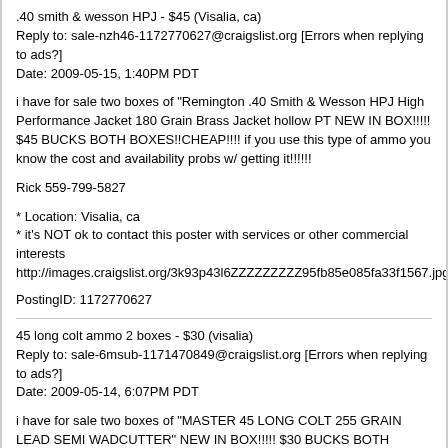.40 smith & wesson HPJ - $45 (Visalia, ca)
Reply to: sale-nzh46-1172770627@craigslist.org [Errors when replying to ads?]
Date: 2009-05-15, 1:40PM PDT
i have for sale two boxes of "Remington .40 Smith & Wesson HPJ High Performance Jacket 180 Grain Brass Jacket hollow PT NEW IN BOX!!!!! $45 BUCKS BOTH BOXES!!CHEAP!!!! if you use this type of ammo you know the cost and availability probs w/ getting it!!!!!!
Rick 559-799-5827
* Location: Visalia, ca
* it's NOT ok to contact this poster with services or other commercial interests
http://images.craigslist.org/3k93p43l6ZZZZZZZZZ95fb85e085fa33f1567.jpghttp://imag
PostingID: 1172770627
45 long colt ammo 2 boxes - $30 (visalia)
Reply to: sale-6msub-1171470849@craigslist.org [Errors when replying to ads?]
Date: 2009-05-14, 6:07PM PDT
i have for sale two boxes of "MASTER 45 LONG COLT 255 GRAIN LEAD SEMI WADCUTTER" NEW IN BOX!!!!! $30 BUCKS BOTH BOXES!!CHEAP!!!! if you use this type of ammo you know the cost and availability probs w/ getting it!!!!!! I KNOW TIMES ARE TOUGH SO IF WANTED I AM OPEN TO TRADES.......IT NEVER HURTS TO ASK????
tjsholley@yahoo.com
* Location: visalia
* it's NOT ok to contact this poster with services or other commercial interests